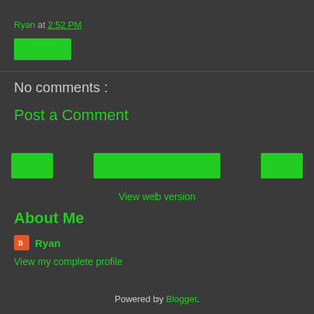Ryan at 2:52 PM
[Figure (screenshot): Green delete button]
No comments :
Post a Comment
[Figure (screenshot): Navigation buttons: left arrow, Home, right arrow]
View web version
About Me
Ryan
View my complete profile
Powered by Blogger.